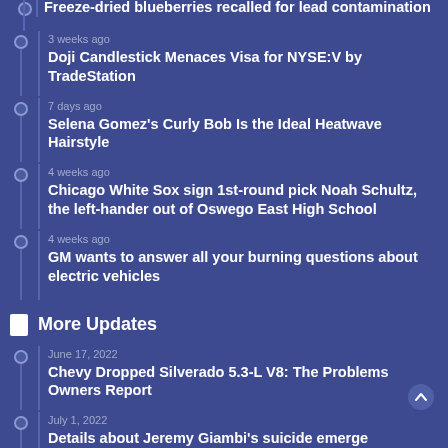Freeze-dried blueberries recalled for lead contamination
3 weeks ago
Doji Candlestick Menaces Visa for NYSE:V by TradeStation
7 days ago
Selena Gomez's Curly Bob Is the Ideal Heatwave Hairstyle
4 weeks ago
Chicago White Sox sign 1st-round pick Noah Schultz, the left-hander out of Oswego East High School
4 weeks ago
GM wants to answer all your burning questions about electric vehicles
More Updates
June 17, 2022
Chevy Dropped Silverado 5.3-L V8: The Problems Owners Report
July 1, 2022
Details about Jeremy Giambi's suicide emerge